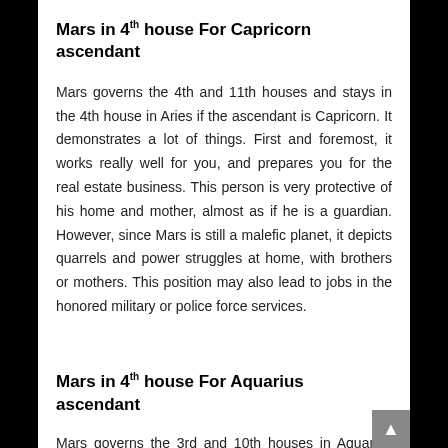Mars in 4th house For Capricorn ascendant
Mars governs the 4th and 11th houses and stays in the 4th house in Aries if the ascendant is Capricorn. It demonstrates a lot of things. First and foremost, it works really well for you, and prepares you for the real estate business. This person is very protective of his home and mother, almost as if he is a guardian. However, since Mars is still a malefic planet, it depicts quarrels and power struggles at home, with brothers or mothers. This position may also lead to jobs in the honored military or police force services.
Mars in 4th house For Aquarius ascendant
Mars governs the 3rd and 10th houses in Aquarius and...